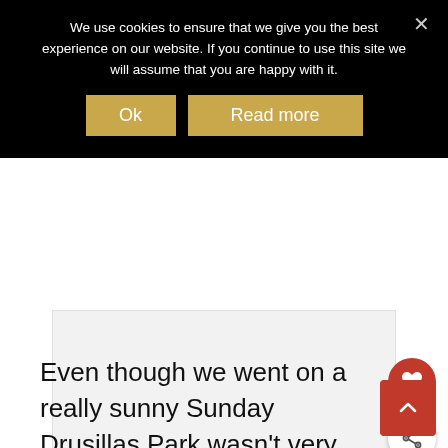We use cookies to ensure that we give you the best experience on our website. If you continue to use this site we will assume that you are happy with it.
Ok
Read more
[Figure (other): White/light gray advertisement placeholder area]
Even though we went on a really sunny Sunday Drusillas Park wasn't very busy at all and had plenty of parking available. Entrance was quick and all the staff seemed lovely and friendly.